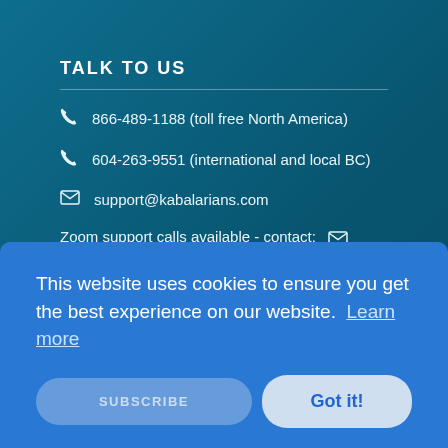TALK TO US
866-489-1188 (toll free North America)
604-263-9551 (international and local BC)
support@kabalarians.com
Zoom support calls available - contact: support
JOIN WEEKLY NEWSLETTER LIST
This website uses cookies to ensure you get the best experience on our website. Learn more
Got it!